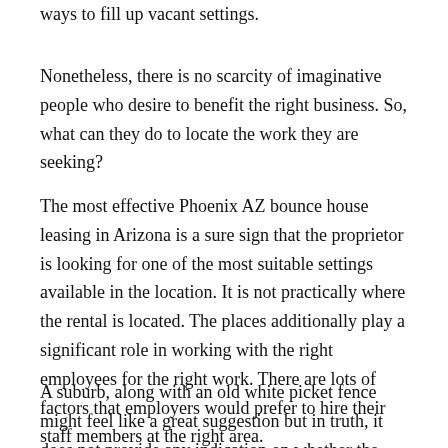ways to fill up vacant settings.
Nonetheless, there is no scarcity of imaginative people who desire to benefit the right business. So, what can they do to locate the work they are seeking?
The most effective Phoenix AZ bounce house leasing in Arizona is a sure sign that the proprietor is looking for one of the most suitable settings available in the location. It is not practically where the rental is located. The places additionally play a significant role in working with the right employees for the right work. There are lots of factors that employers would prefer to hire their staff members at the right area.
A suburb, along with an old white picket fence might feel like a great suggestion but in truth, it does not provide any indication on whether the property owner is going to be trustworthy or credible. The next time you plan to look for a Phoenix leasing, it is necessary to assume very carefully about your options.